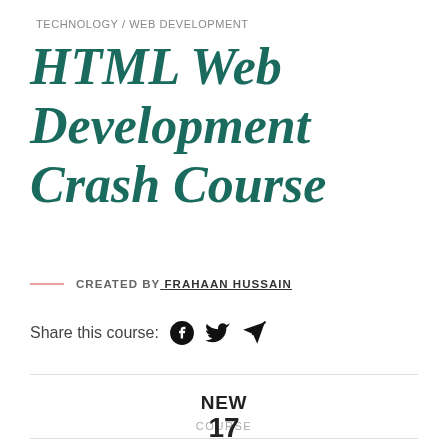TECHNOLOGY / WEB DEVELOPMENT
HTML Web Development Crash Course
CREATED BY FRAHAAN HUSSAIN
Share this course:
NEW
COURSE
17